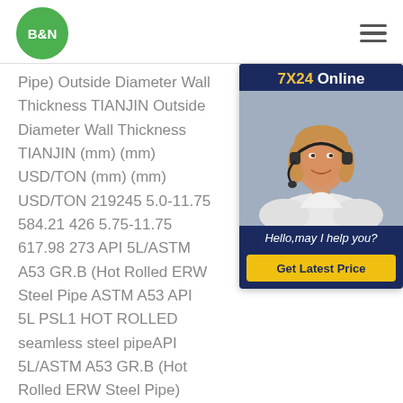B&N
Pipe) Outside Diameter Wall Thickness TIANJIN Outside Diameter Wall Thickness TIANJIN (mm) (mm) USD/TON (mm) (mm) USD/TON 219245 5.0-11.75 584.21 426 5.75-11.75 617.98 273 API 5L/ASTM A53 GR.B (Hot Rolled ERW Steel Pipe ASTM A53 API 5L PSL1 HOT ROLLED seamless steel pipeAPI 5L/ASTM A53 GR.B (Hot Rolled ERW Steel Pipe) Outside Diameter Wall Thickness FOB TIANJIN Outside Diameter Wall Thickness FOB TIANJIN (mm) (mm) USD/TON (mm) (mm) USD/TON 219245 5.0-11.75 584.21 426 5.75-11.75 617.98 273
[Figure (other): Chat widget showing 7X24 Online support with a woman wearing a headset, Hello may I help you? message and Get Latest Price button]